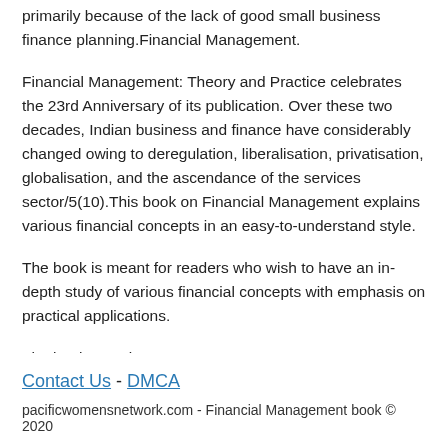primarily because of the lack of good small business finance planning.Financial Management.
Financial Management: Theory and Practice celebrates the 23rd Anniversary of its publication. Over these two decades, Indian business and finance have considerably changed owing to deregulation, liberalisation, privatisation, globalisation, and the ascendance of the services sector/5(10).This book on Financial Management explains various financial concepts in an easy-to-understand style.
The book is meant for readers who wish to have an in-depth study of various financial concepts with emphasis on practical applications.
The book contains .
Contact Us - DMCA
pacificwomensnetwork.com - Financial Management book © 2020